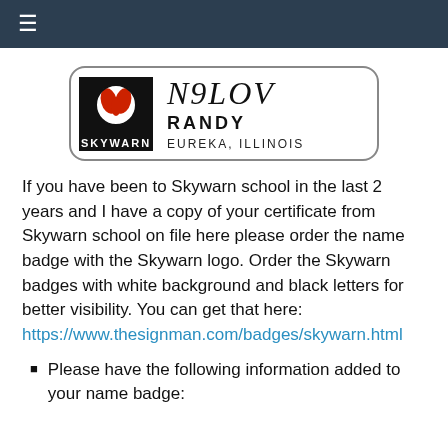≡
[Figure (other): SKYWARN name badge with logo showing a stylized red tornado symbol on black background, callsign N9LOV, name RANDY, location EUREKA, ILLINOIS]
If you have been to Skywarn school in the last 2 years and I have a copy of your certificate from Skywarn school on file here please order the name badge with the Skywarn logo. Order the Skywarn badges with white background and black letters for better visibility. You can get that here: https://www.thesignman.com/badges/skywarn.html
Please have the following information added to your name badge: